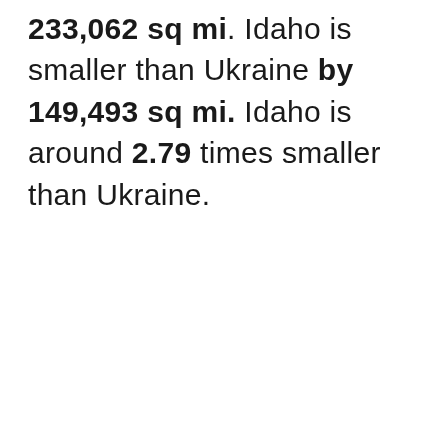233,062 sq mi. Idaho is smaller than Ukraine by 149,493 sq mi. Idaho is around 2.79 times smaller than Ukraine.